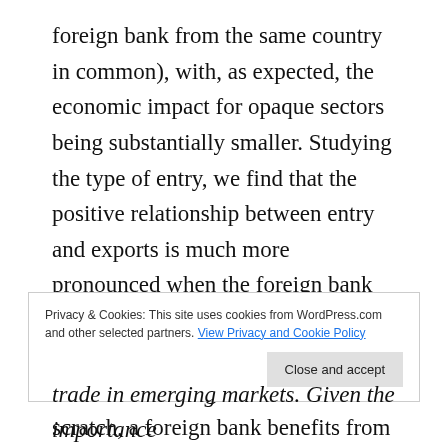foreign bank from the same country in common), with, as expected, the economic impact for opaque sectors being substantially smaller. Studying the type of entry, we find that the positive relationship between entry and exports is much more pronounced when the foreign bank enters through a merger or acquisition. By acquiring a bank instead of starting a new bank from scratch, a foreign bank benefits from the knowledge of the local environment embodied in the acquired entity and an existing customer base, which makes it
Privacy & Cookies: This site uses cookies from WordPress.com and other selected partners. View Privacy and Cookie Policy
trade in emerging markets. Given the importance